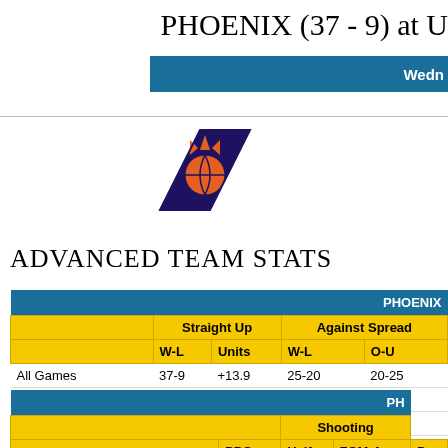PHOENIX (37 - 9) at U
Wedn
| Board |
| --- |
| 545 |
| 546 |
[Figure (logo): Phoenix Suns logo]
ADVANCED TEAM STATS
|  | PHOENIX |
| --- | --- |
|  | Straight Up |  | Against Spread |  |
|  | W-L | Units | W-L | O-U |
| All Games | 37-9 | +13.9 | 25-20 | 20-25 |
| Road Games | 18-4 | +12.8 | 14-7 | 8-14 |
| Last 5 Games | 5-0 | +5 | 3-2 | 3-2 |
|  | PH |
| --- | --- |
|  | Shooting |
|  | PPG | Half | FGM-A | P |
| Team Stats (All Games) | 112.5 | 55.5 | 43-90 | 47 |